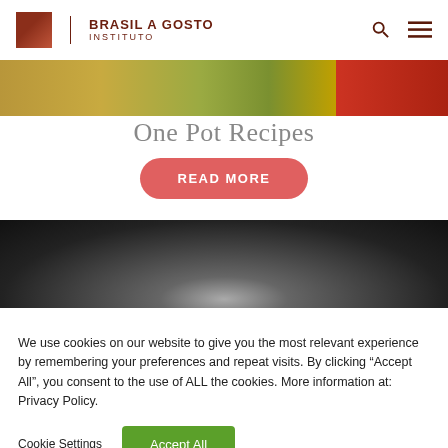BRASIL A GOSTO INSTITUTO
[Figure (photo): Top banner with food images — colorful dish on left side and red food on right side]
One Pot Recipes
READ MORE
[Figure (photo): Dark moody photo of a cooking pot or jar, close-up with bokeh background]
We use cookies on our website to give you the most relevant experience by remembering your preferences and repeat visits. By clicking “Accept All”, you consent to the use of ALL the cookies. More information at: Privacy Policy.
Cookie Settings
Accept All